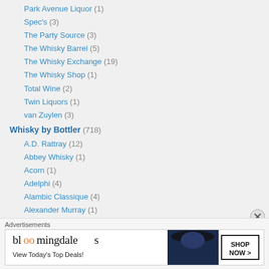Park Avenue Liquor (1)
Spec's (3)
The Party Source (3)
The Whisky Barrel (5)
The Whisky Exchange (19)
The Whisky Shop (1)
Total Wine (2)
Twin Liquors (1)
van Zuylen (3)
Whisky by Bottler (718)
A.D. Rattray (12)
Abbey Whisky (1)
Acorn (1)
Adelphi (4)
Alambic Classique (4)
Alexander Murray (1)
Advertisements
[Figure (screenshot): Bloomingdales advertisement: 'View Today's Top Deals!' with SHOP NOW button and image of woman in hat]